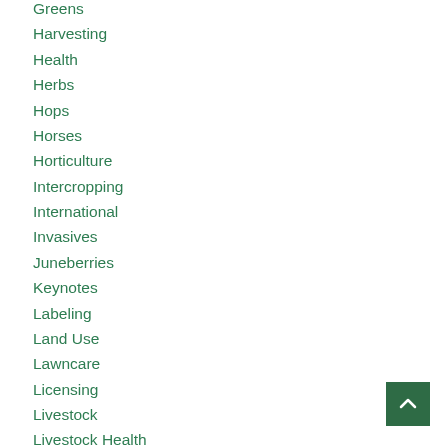Greens
Harvesting
Health
Herbs
Hops
Horses
Horticulture
Intercropping
International
Invasives
Juneberries
Keynotes
Labeling
Land Use
Lawncare
Licensing
Livestock
Livestock Health
Local Food
Maine Heritage Orchard
Maple